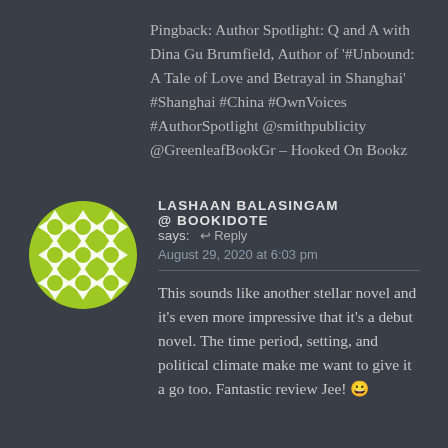Pingback: Author Spotlight: Q and A with Dina Gu Brumfield, Author of '#Unbound: A Tale of Love and Betrayal in Shanghai' #Shanghai #China #OwnVoices #AuthorSpotlight @smithpublicity @GreenleafBookGr – Hooked On Bookz
[Figure (illustration): Circular avatar with green and white geometric floral/star pattern on dark background]
LASHAAN BALASINGAM @ BOOKIDOTE says:
August 29, 2020 at 6:03 pm
This sounds like another stellar novel and it's even more impressive that it's a debut novel. The time period, setting, and political climate make me want to give it a go too. Fantastic review Jee! 😀